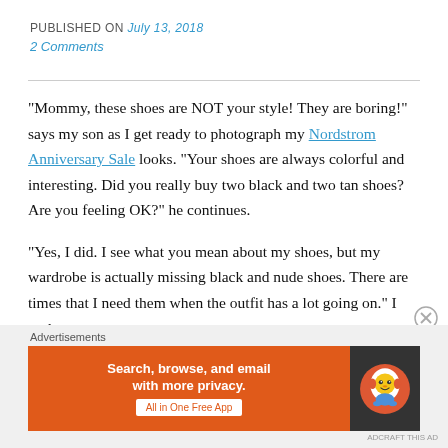PUBLISHED ON July 13, 2018
2 Comments
“Mommy, these shoes are NOT your style!  They are boring!” says my son as I get ready to photograph my Nordstrom Anniversary Sale looks.  “Your shoes are always colorful and interesting.  Did you really buy two black and two tan shoes?  Are you feeling OK?” he continues.
“Yes, I did.  I see what you mean about my shoes, but my wardrobe is actually missing black and nude shoes.  There are times that I need them when the outfit has a lot going on.” I reply.
[Figure (other): Advertisement banner: DuckDuckGo app ad with orange background, text 'Search, browse, and email with more privacy. All in One Free App' and DuckDuckGo logo on dark background]